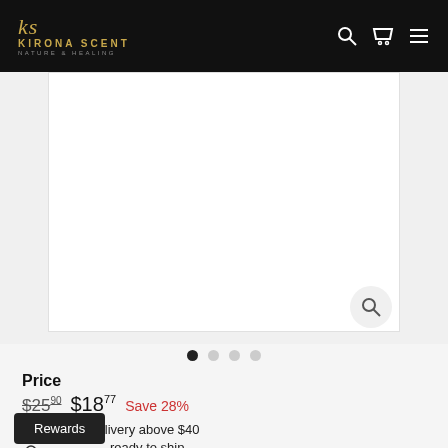Kirona Scent - Nature & Healing
[Figure (photo): Product image area with white background and zoom magnifier button, carousel dots below showing 4 slides with first dot active]
Price
$25.90  $18.77  Save 28%
Free delivery above $40
Secure payment
ready to ship
Rewards